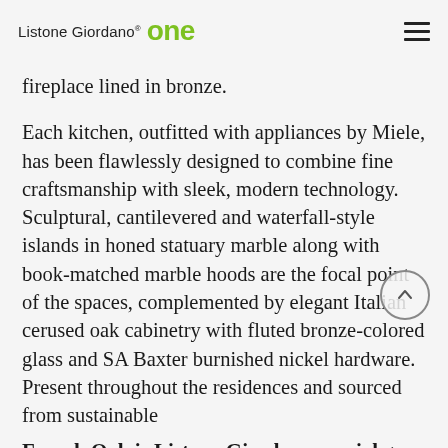Listone Giordano one
fireplace lined in bronze.
Each kitchen, outfitted with appliances by Miele, has been flawlessly designed to combine fine craftsmanship with sleek, modern technology. Sculptural, cantilevered and waterfall-style islands in honed statuary marble along with book-matched marble hoods are the focal point of the spaces, complemented by elegant Italian cerused oak cabinetry with fluted bronze-colored glass and SA Baxter burnished nickel hardware. Present throughout the residences and sourced from sustainable
French Oak is Listone Giordano special grey